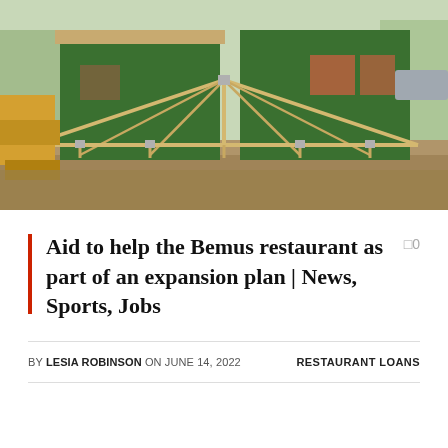[Figure (photo): Construction site showing a building under construction with green sheathing/cladding on walls and wooden roof trusses laid out in the foreground. Heavy equipment visible on the left side.]
Aid to help the Bemus restaurant as part of an expansion plan | News, Sports, Jobs
BY LESIA ROBINSON ON JUNE 14, 2022
RESTAURANT LOANS